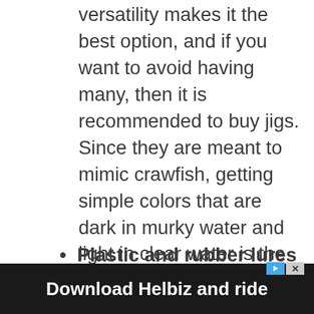versatility makes it the best option, and if you want to avoid having many, then it is recommended to buy jigs. Since they are meant to mimic crawfish, getting simple colors that are dark in murky water and light in clear water is the best. With artificial bait, you can easily trap the giant bass with very minimal chances of escape.
Plastic and rubber lures
[Figure (other): Advertisement banner for 'Download Helbiz and ride' showing a person riding a scooter, with play and close buttons in the top-right corner.]